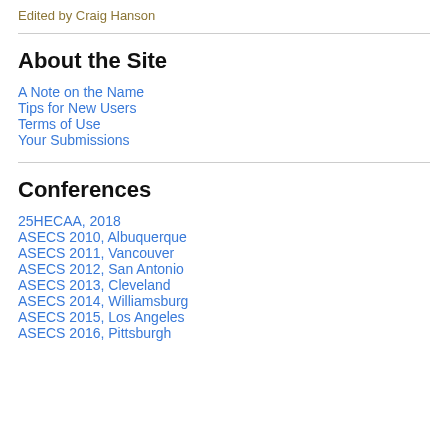Edited by Craig Hanson
About the Site
A Note on the Name
Tips for New Users
Terms of Use
Your Submissions
Conferences
25HECAA, 2018
ASECS 2010, Albuquerque
ASECS 2011, Vancouver
ASECS 2012, San Antonio
ASECS 2013, Cleveland
ASECS 2014, Williamsburg
ASECS 2015, Los Angeles
ASECS 2016, Pittsburgh